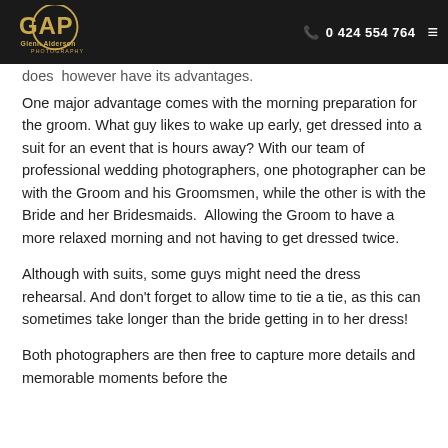Glenn Alderson Photography | 0 424 554 764
does however have its advantages.
One major advantage comes with the morning preparation for the groom. What guy likes to wake up early, get dressed into a suit for an event that is hours away? With our team of professional wedding photographers, one photographer can be with the Groom and his Groomsmen, while the other is with the Bride and her Bridesmaids.  Allowing the Groom to have a more relaxed morning and not having to get dressed twice.
Although with suits, some guys might need the dress rehearsal. And don't forget to allow time to tie a tie, as this can sometimes take longer than the bride getting in to her dress!
Both photographers are then free to capture more details and memorable moments before the